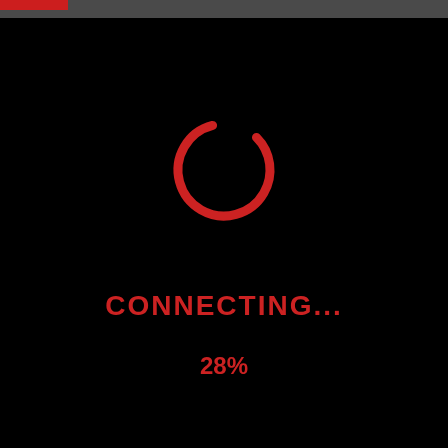[Figure (infographic): Black screen with a red circular loading/connecting spinner arc (approximately 300 degrees, missing bottom-left segment) centered in the upper half, with a red top navigation bar strip at top. Text 'CONNECTING...' and '28%' displayed below the spinner in red on black background.]
CONNECTING...
28%